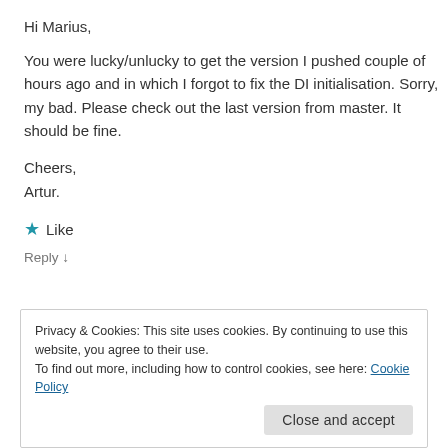Hi Marius,
You were lucky/unlucky to get the version I pushed couple of hours ago and in which I forgot to fix the DI initialisation. Sorry, my bad. Please check out the last version from master. It should be fine.
Cheers,
Artur.
★ Like
Reply ↓
Privacy & Cookies: This site uses cookies. By continuing to use this website, you agree to their use.
To find out more, including how to control cookies, see here: Cookie Policy
Close and accept